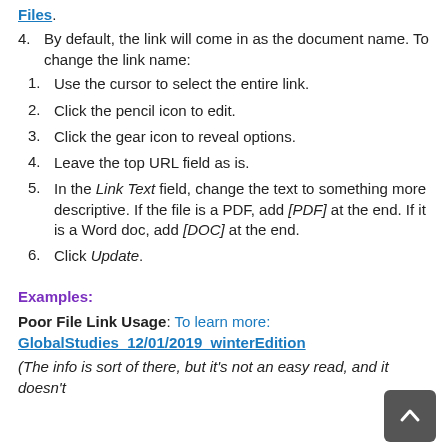Files.
4. By default, the link will come in as the document name. To change the link name:
1. Use the cursor to select the entire link.
2. Click the pencil icon to edit.
3. Click the gear icon to reveal options.
4. Leave the top URL field as is.
5. In the Link Text field, change the text to something more descriptive. If the file is a PDF, add [PDF] at the end. If it is a Word doc, add [DOC] at the end.
6. Click Update.
Examples:
Poor File Link Usage: To learn more: GlobalStudies_12/01/2019_winterEdition
(The info is sort of there, but it's not an easy read, and it doesn't